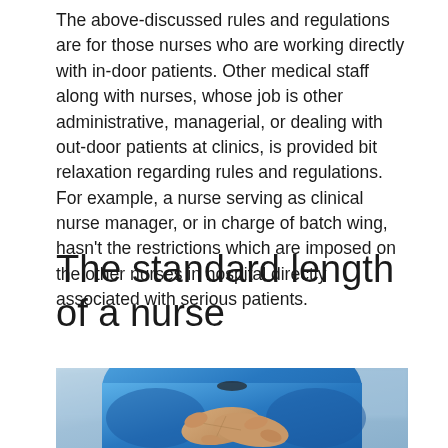The above-discussed rules and regulations are for those nurses who are working directly with in-door patients. Other medical staff along with nurses, whose job is other administrative, managerial, or dealing with out-door patients at clinics, is provided bit relaxation regarding rules and regulations. For example, a nurse serving as clinical nurse manager, or in charge of batch wing, hasn't the restrictions which are imposed on the other nurses in hospital directly associated with serious patients.
The standard length of a nurse
[Figure (photo): A nurse in blue scrubs washing or rubbing their hands together, photographed from mid-torso down, with a blurred background.]